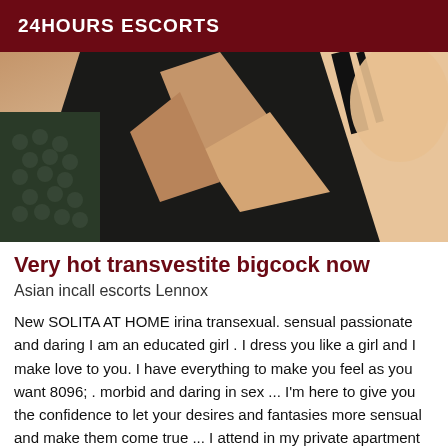24HOURS ESCORTS
[Figure (photo): Close-up photo of a person wearing a black outfit with cutouts, showing torso area with lace detailing on the left side]
Very hot transvestite bigcock now
Asian incall escorts Lennox
New SOLITA AT HOME irina transexual. sensual passionate and daring I am an educated girl . I dress you like a girl and I make love to you. I have everything to make you feel as you want 8096; . morbid and daring in sex ... I'm here to give you the confidence to let your desires and fantasies more sensual and make them come true ... I attend in my private apartment and alone